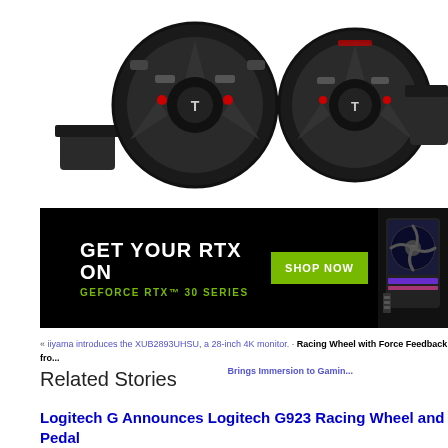[Figure (photo): Three Thrustmaster racing wheels with pedals shown from front view against white background]
[Figure (photo): NVIDIA GeForce RTX 30 Series advertisement banner. Black background with white text 'GET YOUR RTX ON', green text 'GEFORCE RTX™ 30 SERIES', green 'SHOP NOW' button, and RTX graphics card image on right.]
« iiyama introduces the XUB2893UHSU, a 28-inch 4K monitor. · Racing Wheel with Force Feedback fro... Brings Immersion to Gamin...
Related Stories
Logitech G Announces Logitech G923 Racing Wheel and Pedal